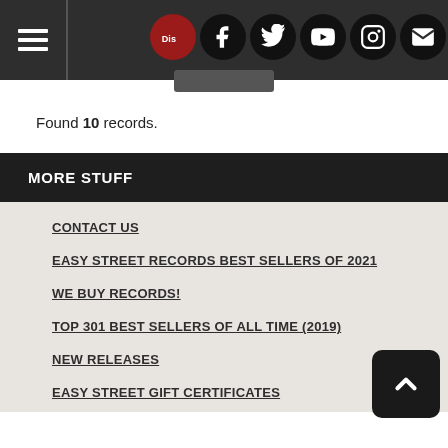Navigation header with hamburger menu and social icons (Discogs, Facebook, Twitter, YouTube, Instagram, Email)
Found 10 records.
MORE STUFF
CONTACT US
EASY STREET RECORDS BEST SELLERS OF 2021
WE BUY RECORDS!
TOP 301 BEST SELLERS OF ALL TIME (2019)
NEW RELEASES
EASY STREET GIFT CERTIFICATES